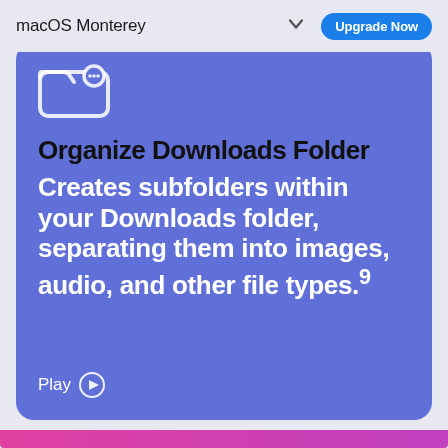macOS Monterey  Upgrade Now
[Figure (illustration): Folder icon with badge, white outline on blue-purple background]
Organize Downloads Folder
Creates subfolders within your Downloads folder, separating them into images, audio, and other file types.9
Play